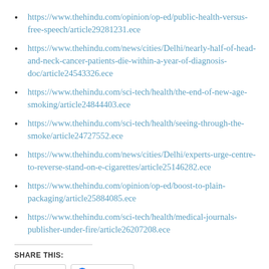https://www.thehindu.com/opinion/op-ed/public-health-versus-free-speech/article29281231.ece
https://www.thehindu.com/news/cities/Delhi/nearly-half-of-head-and-neck-cancer-patients-die-within-a-year-of-diagnosis-doc/article24543326.ece
https://www.thehindu.com/sci-tech/health/the-end-of-new-age-smoking/article24844403.ece
https://www.thehindu.com/sci-tech/health/seeing-through-the-smoke/article24727552.ece
https://www.thehindu.com/news/cities/Delhi/experts-urge-centre-to-reverse-stand-on-e-cigarettes/article25146282.ece
https://www.thehindu.com/opinion/op-ed/boost-to-plain-packaging/article25884085.ece
https://www.thehindu.com/sci-tech/health/medical-journals-publisher-under-fire/article26207208.ece
SHARE THIS:
Twitter  Facebook